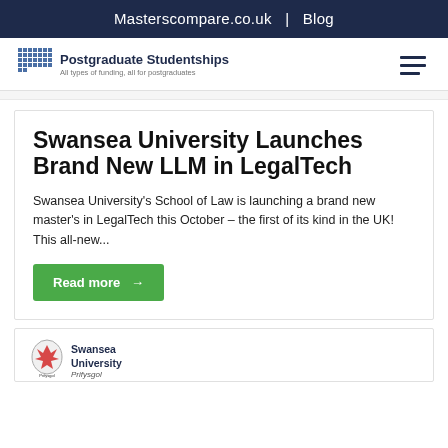Masterscompare.co.uk  |  Blog
[Figure (logo): Postgraduate Studentships logo with grid icon and tagline 'All types of funding, all for postgraduates']
Swansea University Launches Brand New LLM in LegalTech
Swansea University's School of Law is launching a brand new master's in LegalTech this October – the first of its kind in the UK! This all-new...
Read more →
[Figure (logo): Swansea University logo with Welsh dragon crest and text 'Swansea University Prifysgol']